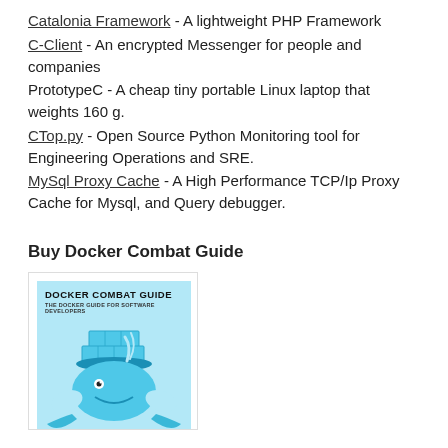Catalonia Framework - A lightweight PHP Framework
C-Client - An encrypted Messenger for people and companies
PrototypeC - A cheap tiny portable Linux laptop that weights 160 g.
CTop.py - Open Source Python Monitoring tool for Engineering Operations and SRE.
MySql Proxy Cache - A High Performance TCP/Ip Proxy Cache for Mysql, and Query debugger.
Buy Docker Combat Guide
[Figure (illustration): Book cover of 'Docker Combat Guide - The Docker Guide for Software Developers' showing a blue cartoon whale wearing shipping containers as a hat]